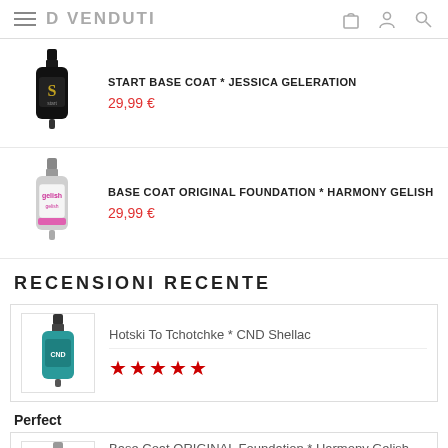D VENDUTI
[Figure (photo): Small black nail polish bottle with 'S start' label]
START BASE COAT * JESSICA GELERATION
29,99 €
[Figure (photo): Small grey/white nail polish bottle with Gelish label]
BASE COAT ORIGINAL FOUNDATION * HARMONY GELISH
29,99 €
RECENSIONI RECENTE
[Figure (photo): Teal/turquoise nail polish bottle]
Hotski To Tchotchke * CND Shellac
★★★★★
Perfect
[Figure (photo): Grey/white nail polish bottle]
Base Coat ORIGINAL Foundation * Harmony Gelish
★★★★